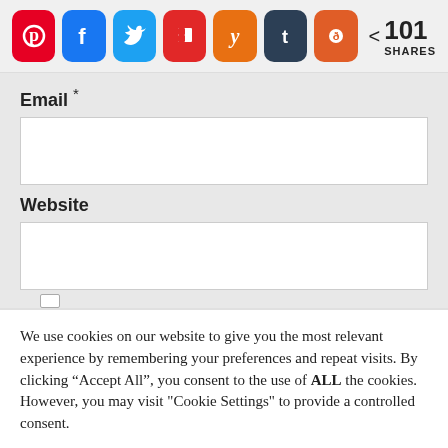[Figure (screenshot): Social media share buttons: Pinterest (red), Facebook (blue), Twitter (light blue), Flipboard (red), Yummly (orange), Tumblr (dark blue), Reddit (orange), with share icon and '101 SHARES' count]
Email *
[Figure (other): Empty white text input field for Email]
Website
[Figure (other): Empty white text input field for Website]
We use cookies on our website to give you the most relevant experience by remembering your preferences and repeat visits. By clicking “Accept All”, you consent to the use of ALL the cookies. However, you may visit "Cookie Settings" to provide a controlled consent.
Cookie Settings
Accept All